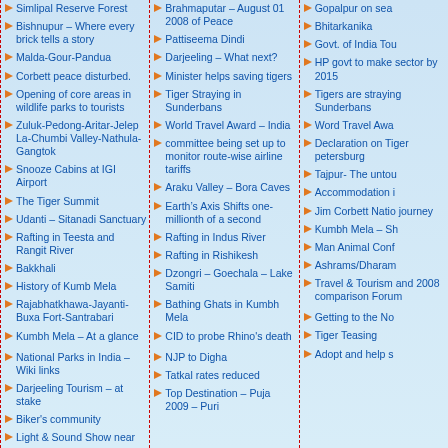Simlipal Reserve Forest
Bishnupur – Where every brick tells a story
Malda-Gour-Pandua
Corbett peace disturbed.
Opening of core areas in wildlife parks to tourists
Zuluk-Pedong-Aritar-Jelep La-Chumbi Valley-Nathula-Gangtok
Snooze Cabins at IGI Airport
The Tiger Summit
Udanti – Sitanadi Sanctuary
Rafting in Teesta and Rangit River
Bakkhali
History of Kumb Mela
Rajabhatkhawa-Jayanti-Buxa Fort-Santrabari
Kumbh Mela – At a glance
National Parks in India – Wiki links
Darjeeling Tourism – at stake
Biker's community
Light & Sound Show near
Brahmaputar – August 01 2008 of Peace
Pattiseema Dindi
Darjeeling – What next?
Minister helps saving tigers
Tiger Straying in Sunderbans
World Travel Award – India
committee being set up to monitor route-wise airline tariffs
Araku Valley – Bora Caves
Earth's Axis Shifts one-millionth of a second
Rafting in Indus River
Rafting in Rishikesh
Dzongri – Goechala – Lake Samiti
Bathing Ghats in Kumbh Mela
CID to probe Rhino's death
NJP to Digha
Tatkal rates reduced
Top Destination – Puja 2009 – Puri
Gopalpur on sea
Bhitarkanika
Govt. of India Tourism
HP govt to make sector by 2015
Tigers are straying Sunderbans
Word Travel Award
Declaration on Tiger petersburg
Tajpur- The untouched
Accommodation in
Jim Corbett National journey
Kumbh Mela – Sh
Man Animal Conflict
Ashrams/Dharam
Travel & Tourism and 2008 comparison Forum
Getting to the North
Tiger Teasing
Adopt and help s